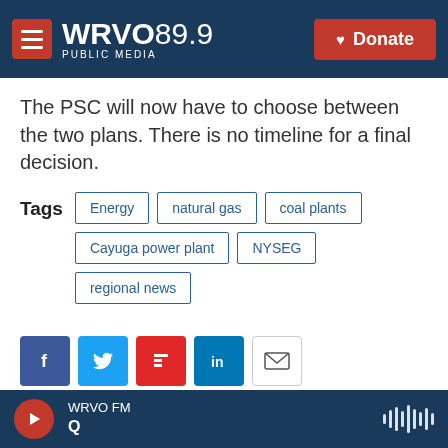WRVO PUBLIC MEDIA 89.9 | Donate
The PSC will now have to choose between the two plans. There is no timeline for a final decision.
Tags: Energy | natural gas | coal plants | Cayuga power plant | NYSEG | regional news
[Figure (other): Social sharing buttons: Facebook, Twitter, Flipboard, LinkedIn, Email]
[Figure (photo): Partial photo of a person at the bottom of the page]
WRVO FM | Q (audio player bar)